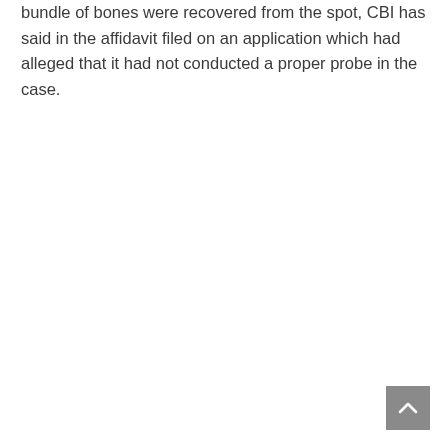bundle of bones were recovered from the spot, CBI has said in the affidavit filed on an application which had alleged that it had not conducted a proper probe in the case.